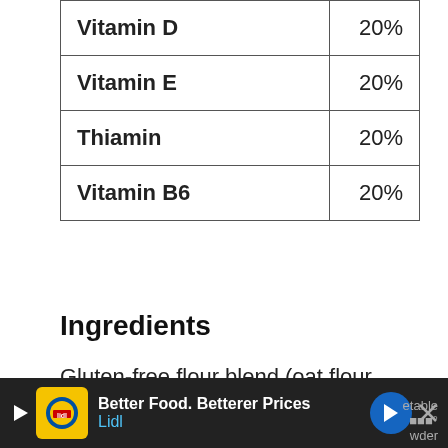| Nutrient | % Daily Value |
| --- | --- |
| Vitamin D | 20% |
| Vitamin E | 20% |
| Thiamin | 20% |
| Vitamin B6 | 20% |
Ingredients
Gluten-free flour blend (oat flour, tapioca flour, potato starch), cane sugar syrup, vegetable oils (sustainable palm fruit oil, sunflower oil), chocolate chips (cane sugar,
[Figure (other): Lidl advertisement banner: 'Better Food. Betterer Prices' with Lidl logo and navigation arrow icon, dark background]